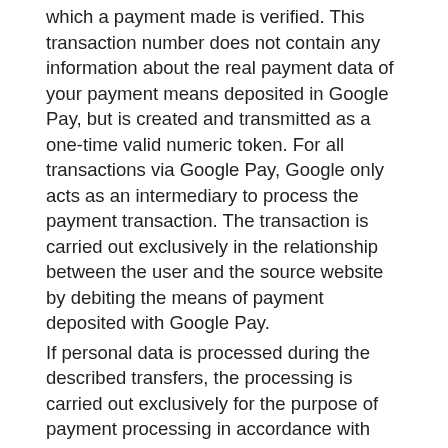which a payment made is verified. This transaction number does not contain any information about the real payment data of your payment means deposited in Google Pay, but is created and transmitted as a one-time valid numeric token. For all transactions via Google Pay, Google only acts as an intermediary to process the payment transaction. The transaction is carried out exclusively in the relationship between the user and the source website by debiting the means of payment deposited with Google Pay.
If personal data is processed during the described transfers, the processing is carried out exclusively for the purpose of payment processing in accordance with Art. 6 (1) lit. b DSGVO.
Google reserves the right to collect, store and evaluate certain transaction-specific information for each transaction carried out via Google Pay. This includes the date, time and amount of the transaction, merchant location and description, a description of